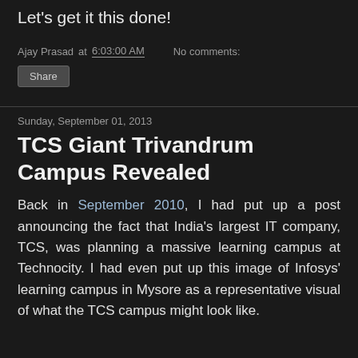Let's get it this done!
Ajay Prasad at 6:03:00 AM   No comments:
Share
Sunday, September 01, 2013
TCS Giant Trivandrum Campus Revealed
Back in September 2010, I had put up a post announcing the fact that India's largest IT company, TCS, was planning a massive learning campus at Technocity. I had even put up this image of Infosys' learning campus in Mysore as a representative visual of what the TCS campus might look like.